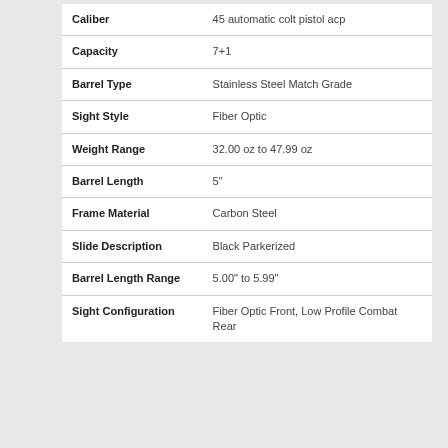| Attribute | Value |
| --- | --- |
| Caliber | 45 automatic colt pistol acp |
| Capacity | 7+1 |
| Barrel Type | Stainless Steel Match Grade |
| Sight Style | Fiber Optic |
| Weight Range | 32.00 oz to 47.99 oz |
| Barrel Length | 5" |
| Frame Material | Carbon Steel |
| Slide Description | Black Parkerized |
| Barrel Length Range | 5.00" to 5.99" |
| Sight Configuration | Fiber Optic Front, Low Profile Combat Rear |